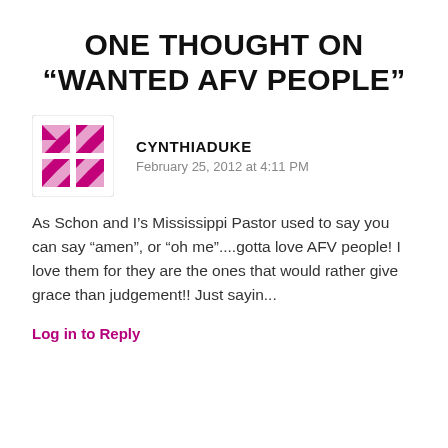ONE THOUGHT ON “WANTED AFV PEOPLE”
[Figure (illustration): Magenta/pink geometric avatar icon with diamond/cross pattern made of triangles and squares]
CYNTHIADUKE
February 25, 2012 at 4:11 PM
As Schon and I’s Mississippi Pastor used to say you can say “amen”, or “oh me”....gotta love AFV people! I love them for they are the ones that would rather give grace than judgement!! Just sayin...
Log in to Reply